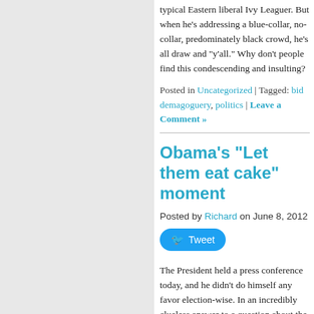typical Eastern liberal Ivy Leaguer. But when he's addressing a blue-collar, no-collar, predominately black crowd, he's all draw and "y'all." Why don't people find this condescending and insulting?
Posted in Uncategorized | Tagged: bid demagoguery, politics | Leave a Comment »
Obama's “Let them eat cake” moment
Posted by Richard on June 8, 2012
[Figure (other): Tweet button]
The President held a press conference today, and he didn't do himself any favor election-wise. In an incredibly clueless answer to a question about the economy argued that "the private sector is doing f and the only problem with our economy that the government sector isn't big eno